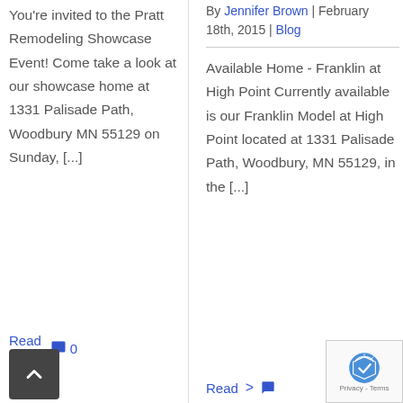You're invited to the Pratt Remodeling Showcase Event! Come take a look at our showcase home at 1331 Palisade Path, Woodbury MN 55129 on Sunday, [...]
Read More >
0
By Jennifer Brown | February 18th, 2015 | Blog
Available Home - Franklin at High Point Currently available is our Franklin Model at High Point located at 1331 Palisade Path, Woodbury, MN 55129, in the [...]
Read >